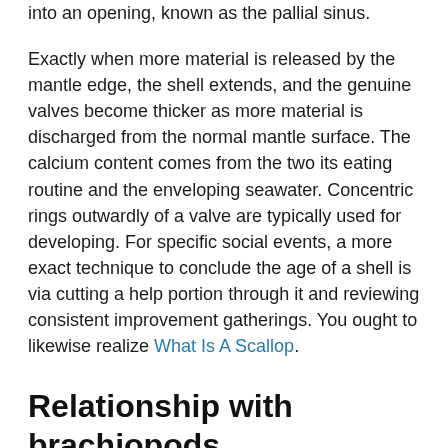into an opening, known as the pallial sinus.
Exactly when more material is released by the mantle edge, the shell extends, and the genuine valves become thicker as more material is discharged from the normal mantle surface. The calcium content comes from the two its eating routine and the enveloping seawater. Concentric rings outwardly of a valve are typically used for developing. For specific social events, a more exact technique to conclude the age of a shell is via cutting a help portion through it and reviewing consistent improvement gatherings. You ought to likewise realize What Is A Scallop.
Relationship with brachiopods
Brachiopods are marine life frames that carelessly seem to be bivalves, in that they are equivalent in size and have a turned shell in two segments. Regardless, brachiopods are noted from one another in various familial lines, and the